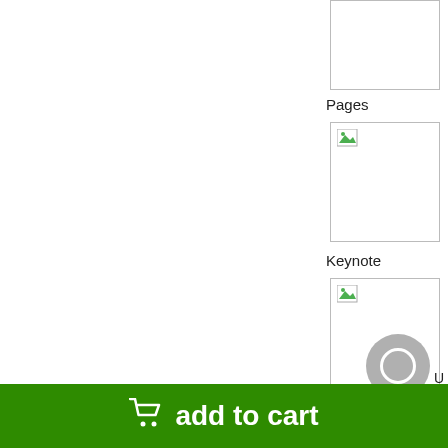[Figure (screenshot): Partial view of a product page showing sidebar with Pages, Keynote, and Numbers app icons with thumbnail boxes]
Pages
[Figure (screenshot): Pages app thumbnail with broken image icon]
Keynote
[Figure (screenshot): Keynote app thumbnail with broken image icon]
Numbers
[Figure (screenshot): Numbers app thumbnail with broken image icon]
add to cart